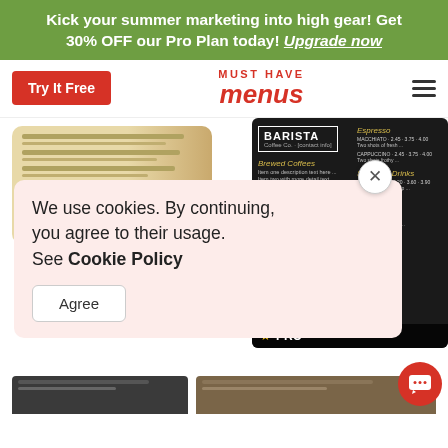Kick your summer marketing into high gear! Get 30% OFF our Pro Plan today! Upgrade now
[Figure (screenshot): Navigation bar with Try It Free button, Must Have Menus logo, and hamburger menu icon]
[Figure (screenshot): Coffee menu thumbnail with FREE badge and caption 'Coffee Menu Idea']
Coffee Menu Idea
[Figure (screenshot): Barista Coffee Co. dark menu template with PRO badge]
We use cookies. By continuing, you agree to their usage. See Cookie Policy
[Figure (screenshot): Agree button for cookie consent]